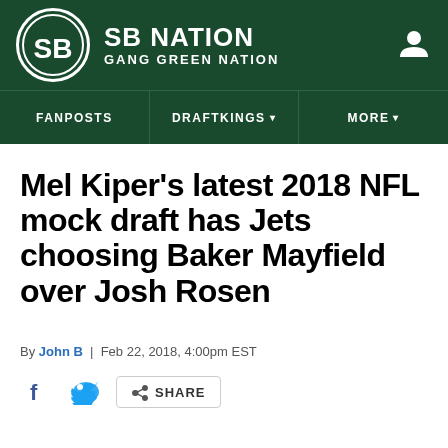SB NATION — GANG GREEN NATION
Mel Kiper’s latest 2018 NFL mock draft has Jets choosing Baker Mayfield over Josh Rosen
By John B | Feb 22, 2018, 4:00pm EST
SHARE